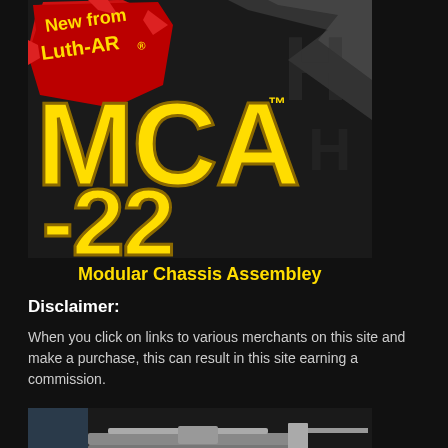[Figure (illustration): Product banner for Luth-AR MCA-22 Modular Chassis Assembley. Features bold yellow text 'MCA-22' with trademark symbol, 'New from Luth-AR' in yellow on red starburst shape, and subtitle 'Modular Chassis Assembley' in yellow on black background with grey lightning bolt graphic.]
Disclaimer:
When you click on links to various merchants on this site and make a purchase, this can result in this site earning a commission.
[Figure (photo): Partial photo of what appears to be a firearm or rifle component against a dark background, cropped at the bottom of the page.]